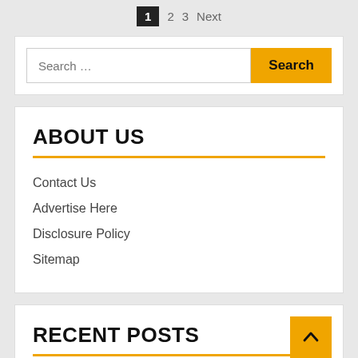1  2  3  Next
Search ...
ABOUT US
Contact Us
Advertise Here
Disclosure Policy
Sitemap
RECENT POSTS
Rule Adjust Could Boost Access To Dental Care For